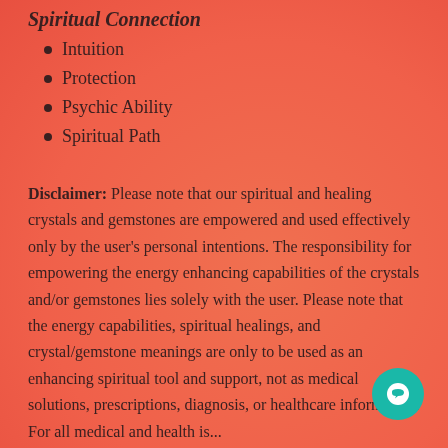Spiritual Connection
Intuition
Protection
Psychic Ability
Spiritual Path
Disclaimer: Please note that our spiritual and healing crystals and gemstones are empowered and used effectively only by the user's personal intentions. The responsibility for empowering the energy enhancing capabilities of the crystals and/or gemstones lies solely with the user. Please note that the energy capabilities, spiritual healings, and crystal/gemstone meanings are only to be used as an enhancing spiritual tool and support, not as medical health solutions, prescriptions, diagnosis, or healthcare information. For all medical and health issues...